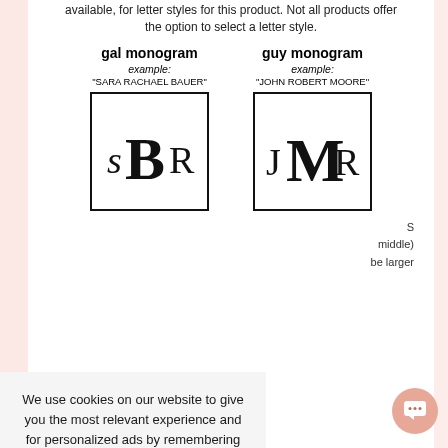available, for letter styles for this product. Not all products offer the option to select a letter style.
[Figure (illustration): Two monogram examples side by side. Left: 'gal monogram' example 'SARA RACHAEL BAUER' showing sBR in a box. Right: 'guy monogram' example 'JOHN ROBERT MOORE' showing JMR in a box.]
S
middle)
be larger
We use cookies on our website to give you the most relevant experience and for personalized ads by remembering your preferences and repeat visits. By Clicking "Accept", you consent to the use of ALL the cookies.
YES, I ACCEPT
More Info